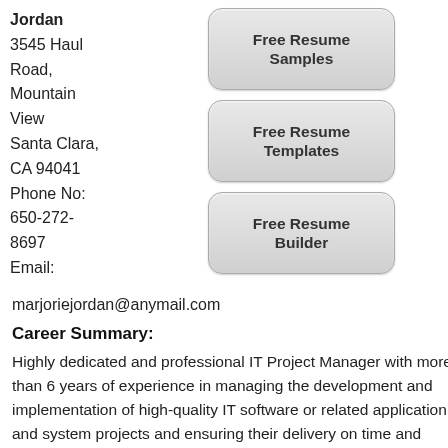Jordan
3545 Haul Road,
Mountain View
Santa Clara, CA 94041
Phone No:
650-272-8697
Email:
[Figure (other): Button: Free Resume Samples]
[Figure (other): Button: Free Resume Templates]
[Figure (other): Button: Free Resume Builder]
marjoriejordan@anymail.com
Career Summary:
Highly dedicated and professional IT Project Manager with more than 6 years of experience in managing the development and implementation of high-quality IT software or related application and system projects and ensuring their delivery on time and within specified budgets. Capable of solving technical issues and